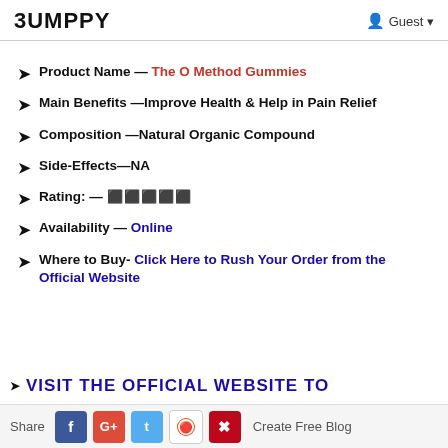BUMPPY | Guest
Product Name — The O Method Gummies
Main Benefits —Improve Health & Help in Pain Relief
Composition —Natural Organic Compound
Side-Effects—NA
Rating: — ⬛⬛⬛⬛⬛
Availability — Online
Where to Buy- Click Here to Rush Your Order from the Official Website
VISIT THE OFFICIAL WEBSITE TO
Share | f | G+ | t | reddit | p | Create Free Blog